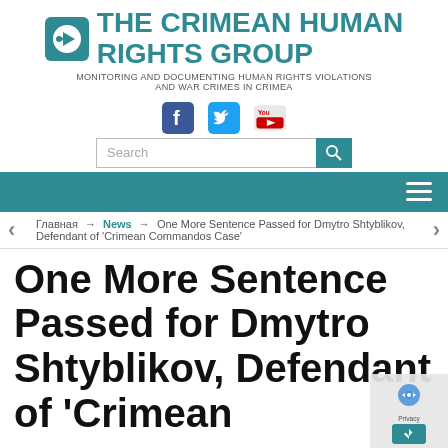THE CRIMEAN HUMAN RIGHTS GROUP
MONITORING AND DOCUMENTING HUMAN RIGHTS VIOLATIONS AND WAR CRIMES IN CRIMEA
[Figure (screenshot): Social media icons: Facebook, Twitter, YouTube]
[Figure (screenshot): Search bar with magnifying glass button]
[Figure (screenshot): Teal navigation bar with hamburger menu icon]
Главная → News → One More Sentence Passed for Dmytro Shtyblikov, Defendant of 'Crimean Commandos Case'
One More Sentence Passed for Dmytro Shtyblikov, Defendant of 'Crimean